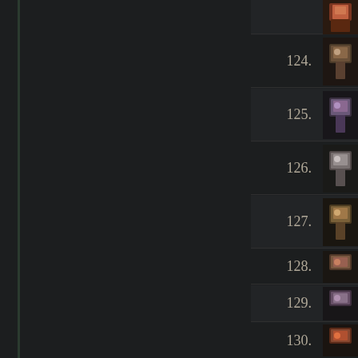123.
124.
125.
126.
127.
128.
129.
130.